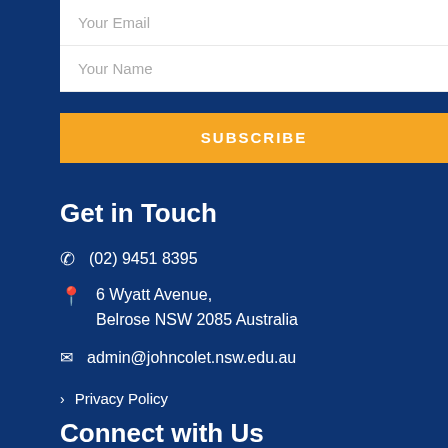Your Email
Your Name
SUBSCRIBE
Get in Touch
(02) 9451 8395
6 Wyatt Avenue, Belrose NSW 2085 Australia
admin@johncolet.nsw.edu.au
Privacy Policy
Connect with Us